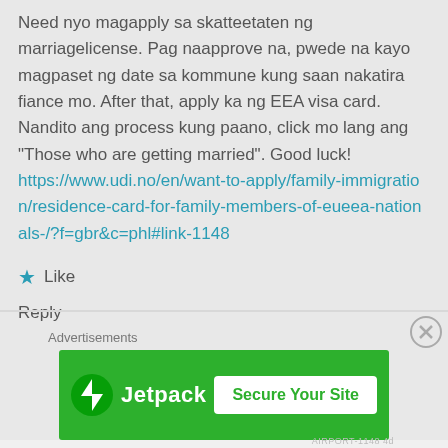Need nyo magapply sa skatteetaten ng marriagelicense. Pag naapprove na, pwede na kayo magpaset ng date sa kommune kung saan nakatira fiance mo. After that, apply ka ng EEA visa card. Nandito ang process kung paano, click mo lang ang “Those who are getting married”. Good luck! https://www.udi.no/en/want-to-apply/family-immigration/residence-card-for-family-members-of-eueea-nationals-/?f=gbr&c=phl#link-1148
Like
Reply
Advertisements
[Figure (screenshot): Jetpack advertisement banner with green background showing Jetpack logo and 'Secure Your Site' button]